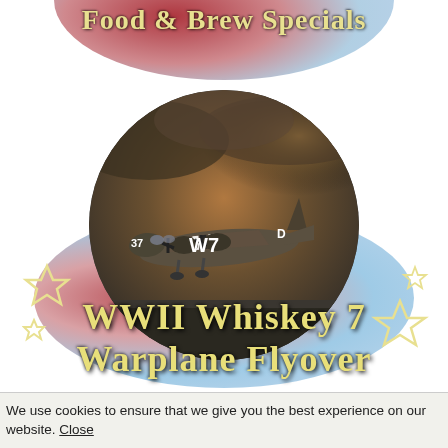Food & Brew Specials
[Figure (photo): Circular photo of a WWII-era C-47 military transport plane marked '37 W7' flying through dramatic cloudy skies]
WWII Whiskey 7 Warplane Flyover
We use cookies to ensure that we give you the best experience on our website. Close